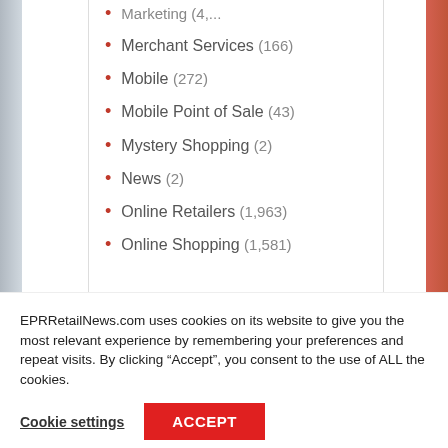Merchant Services (166)
Mobile (272)
Mobile Point of Sale (43)
Mystery Shopping (2)
News (2)
Online Retailers (1,963)
Online Shopping (1,581)
EPRRetailNews.com uses cookies on its website to give you the most relevant experience by remembering your preferences and repeat visits. By clicking “Accept”, you consent to the use of ALL the cookies.
Cookie settings  ACCEPT